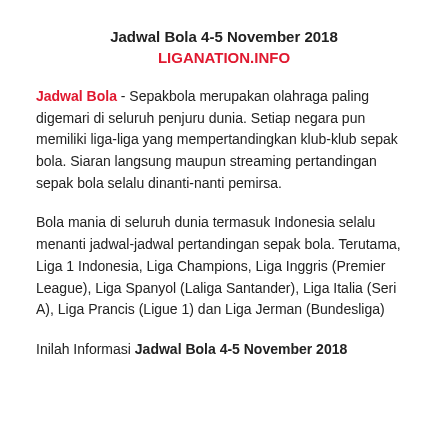Jadwal Bola 4-5 November 2018
LIGANATION.INFO
Jadwal Bola - Sepakbola merupakan olahraga paling digemari di seluruh penjuru dunia. Setiap negara pun memiliki liga-liga yang mempertandingkan klub-klub sepak bola. Siaran langsung maupun streaming pertandingan sepak bola selalu dinanti-nanti pemirsa.
Bola mania di seluruh dunia termasuk Indonesia selalu menanti jadwal-jadwal pertandingan sepak bola. Terutama, Liga 1 Indonesia, Liga Champions, Liga Inggris (Premier League), Liga Spanyol (Laliga Santander), Liga Italia (Seri A), Liga Prancis (Ligue 1) dan Liga Jerman (Bundesliga)
Inilah Informasi Jadwal Bola 4-5 November 2018